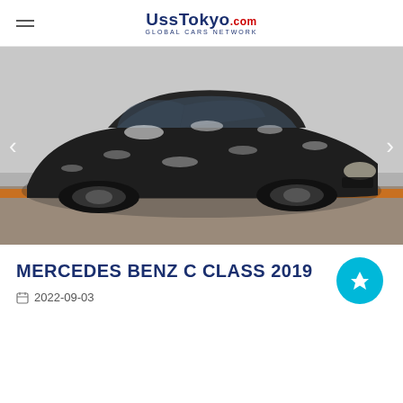UssTokyo.com — GLOBAL CARS NETWORK
[Figure (photo): Dark-colored Mercedes Benz C Class 2019 photographed from a front-side angle in a parking lot, covered in dust or snow. Navigation arrows visible on left and right sides of the image.]
MERCEDES BENZ C CLASS 2019
2022-09-03